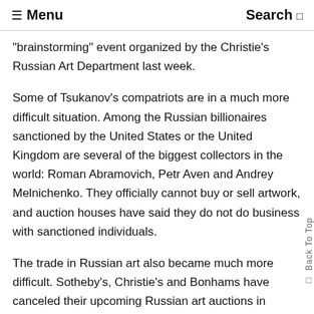☰ Menu  Search
"brainstorming" event organized by the Christie's Russian Art Department last week.
Some of Tsukanov's compatriots are in a much more difficult situation. Among the Russian billionaires sanctioned by the United States or the United Kingdom are several of the biggest collectors in the world: Roman Abramovich, Petr Aven and Andrey Melnichenko. They officially cannot buy or sell artwork, and auction houses have said they do not do business with sanctioned individuals.
The trade in Russian art also became much more difficult. Sotheby's, Christie's and Bonhams have canceled their upcoming Russian art auctions in London, the epicenter of the sector.
"Right now, everything is on hold," said Jo Vickery, co-founder of